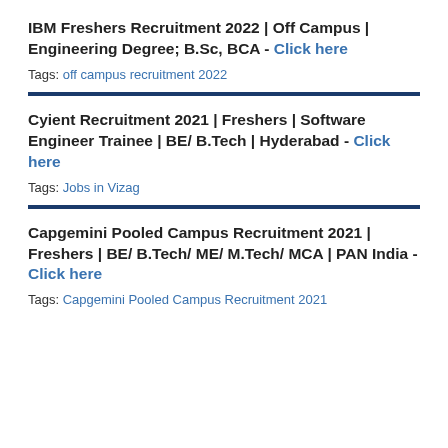IBM Freshers Recruitment 2022 | Off Campus | Engineering Degree; B.Sc, BCA - Click here
Tags: off campus recruitment 2022
Cyient Recruitment 2021 | Freshers | Software Engineer Trainee | BE/ B.Tech | Hyderabad - Click here
Tags: Jobs in Vizag
Capgemini Pooled Campus Recruitment 2021 | Freshers | BE/ B.Tech/ ME/ M.Tech/ MCA | PAN India - Click here
Tags: Capgemini Pooled Campus Recruitment 2021